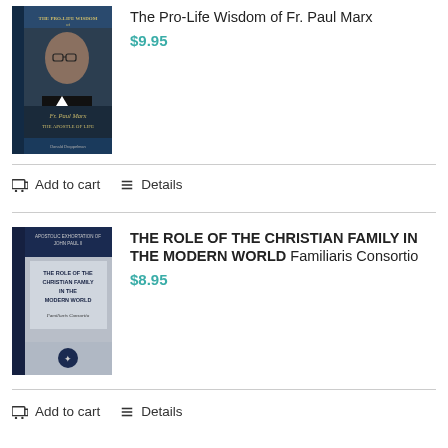[Figure (photo): Book cover of 'The Pro-Life Wisdom of Fr. Paul Marx' showing a man with glasses in black clerical attire on a dark blue background]
The Pro-Life Wisdom of Fr. Paul Marx
$9.95
Add to cart
Details
[Figure (photo): Book cover of 'THE ROLE OF THE CHRISTIAN FAMILY IN THE MODERN WORLD Familiaris Consortio' with dark navy binding and gray cover]
THE ROLE OF THE CHRISTIAN FAMILY IN THE MODERN WORLD Familiaris Consortio
$8.95
Add to cart
Details